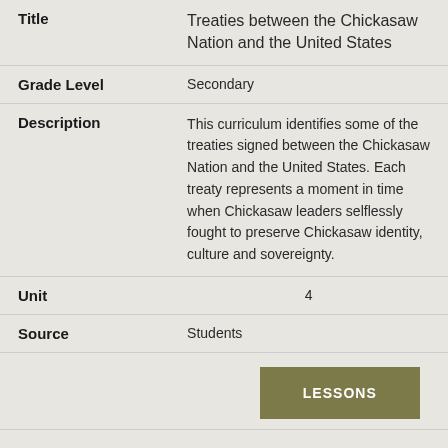| Field | Value |
| --- | --- |
| Title | Treaties between the Chickasaw Nation and the United States |
| Grade Level | Secondary |
| Description | This curriculum identifies some of the treaties signed between the Chickasaw Nation and the United States. Each treaty represents a moment in time when Chickasaw leaders selflessly fought to preserve Chickasaw identity, culture and sovereignty. |
| Unit | 4 |
| Source | Students |
LESSONS